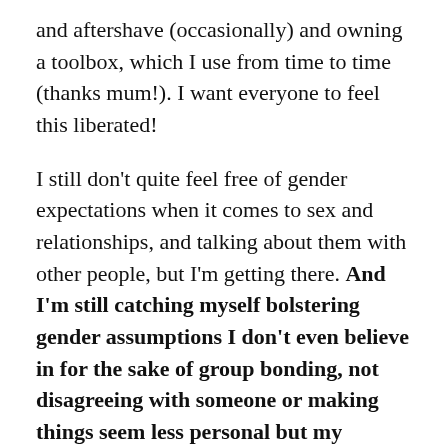and aftershave (occasionally) and owning a toolbox, which I use from time to time (thanks mum!). I want everyone to feel this liberated!
I still don't quite feel free of gender expectations when it comes to sex and relationships, and talking about them with other people, but I'm getting there. And I'm still catching myself bolstering gender assumptions I don't even believe in for the sake of group bonding, not disagreeing with someone or making things seem less personal but my challenge for 2018 is to do this much less. Anyone care to join me?
Share your thoughts below!